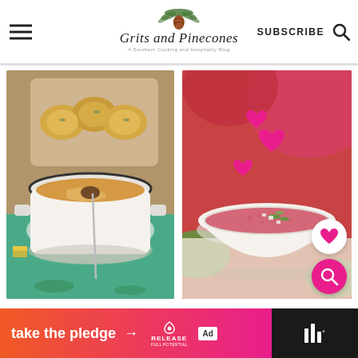Grits and Pinecones — A Southern Cooking and Hospitality Blog
[Figure (photo): Photo of a creamy yellow soup in a white pot with biscuits in the background]
[Figure (photo): Photo of a pink/red gazpacho-style soup in a white bowl with green onions and toppings, with heart and search overlay icons]
take the pledge → RELEASE